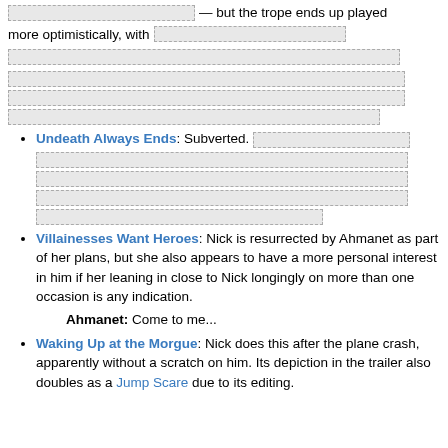— but the trope ends up played more optimistically, with [redacted content]
Undeath Always Ends: Subverted. [redacted content]
Villainesses Want Heroes: Nick is resurrected by Ahmanet as part of her plans, but she also appears to have a more personal interest in him if her leaning in close to Nick longingly on more than one occasion is any indication.
Ahmanet: Come to me...
Waking Up at the Morgue: Nick does this after the plane crash, apparently without a scratch on him. Its depiction in the trailer also doubles as a Jump Scare due to its editing.